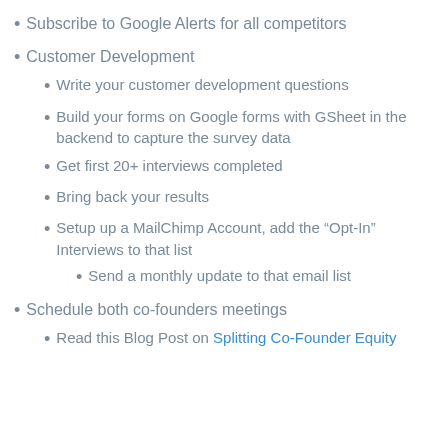Subscribe to Google Alerts for all competitors
Customer Development
Write your customer development questions
Build your forms on Google forms with GSheet in the backend to capture the survey data
Get first 20+ interviews completed
Bring back your results
Setup up a MailChimp Account, add the “Opt-In” Interviews to that list
Send a monthly update to that email list
Schedule both co-founders meetings
Read this Blog Post on Splitting Co-Founder Equity